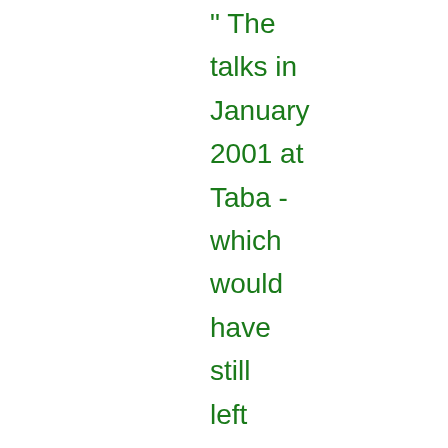" The talks in January 2001 at Taba - which would have still left two thirds of the Israeli settlers living in 87 West bank settlements - were a significant improvement. However,